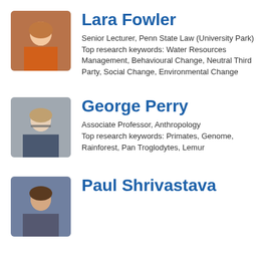[Figure (photo): Headshot photo of Lara Fowler, a woman wearing an orange jacket]
Lara Fowler
Senior Lecturer, Penn State Law (University Park)
Top research keywords: Water Resources Management, Behavioural Change, Neutral Third Party, Social Change, Environmental Change
[Figure (photo): Headshot photo of George Perry, a man wearing glasses and a plaid shirt]
George Perry
Associate Professor, Anthropology
Top research keywords: Primates, Genome, Rainforest, Pan Troglodytes, Lemur
[Figure (photo): Headshot photo of Paul Shrivastava, a man in a suit]
Paul Shrivastava